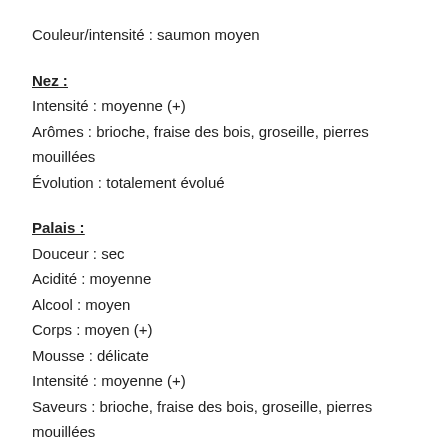Couleur/intensité : saumon moyen
Nez :
Intensité : moyenne (+)
Arômes : brioche, fraise des bois, groseille, pierres mouillées
Évolution : totalement évolué
Palais :
Douceur : sec
Acidité : moyenne
Alcool : moyen
Corps : moyen (+)
Mousse : délicate
Intensité : moyenne (+)
Saveurs : brioche, fraise des bois, groseille, pierres mouillées
Fin de bouche : moyenne (+)
Conclusions :